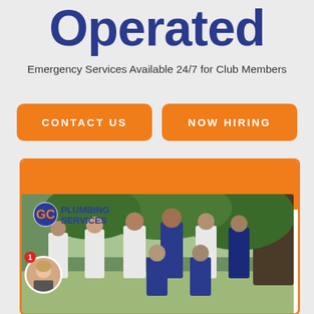Operated
Emergency Services Available 24/7 for Club Members
CONTACT US
NOW HIRING
[Figure (photo): Team photo of GC Plumbing Services staff — approximately 7 people standing and 2 kneeling outdoors in front of trees, wearing white and blue shirts. A circular avatar thumbnail of a woman is overlaid in the lower left with a red badge number 1. The GC Plumbing Services logo appears in the upper left of the photo. The card has an orange top bar and an orange border.]